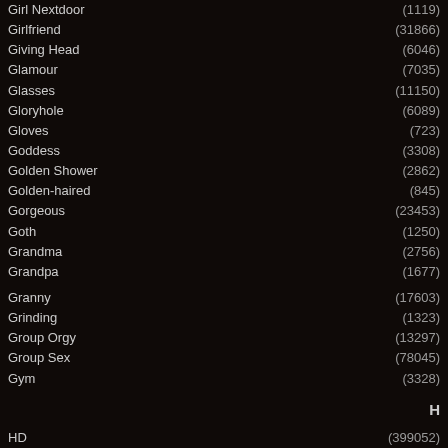Girl Nextdoor (1119)
Girlfriend (31866)
Giving Head (6046)
Glamour (7035)
Glasses (11150)
Gloryhole (6089)
Gloves (723)
Goddess (3308)
Golden Shower (2862)
Golden-haired (845)
Gorgeous (23453)
Goth (1250)
Grandma (2756)
Grandpa (1677)
Granny (17603)
Grinding (1323)
Group Orgy (13297)
Group Sex (78045)
Gym (3328)
H
HD (399052)
Hair Pulling (808)
Hairless (908)
Hairy (58407)
Handjob (67982)
Handjob Compilation (647)
Happy Ending (641)
Hard Fuck (54458)
Hardcore (505485)
Hazing (2320)